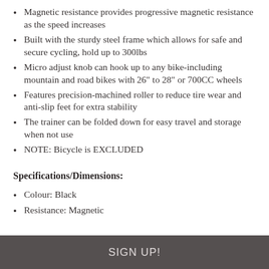Magnetic resistance provides progressive magnetic resistance as the speed increases
Built with the sturdy steel frame which allows for safe and secure cycling, hold up to 300lbs
Micro adjust knob can hook up to any bike-including mountain and road bikes with 26" to 28" or 700CC wheels
Features precision-machined roller to reduce tire wear and anti-slip feet for extra stability
The trainer can be folded down for easy travel and storage when not use
NOTE: Bicycle is EXCLUDED
Specifications/Dimensions:
Colour: Black
Resistance: Magnetic
SIGN UP!